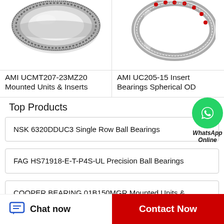[Figure (photo): AMI UCMT207-23MZ20 bearing ring product photo — large slewing ring bearing viewed from above]
AMI UCMT207-23MZ20 Mounted Units & Inserts
[Figure (photo): AMI UC205-15 Insert Bearings Spherical OD product photo — thin ring bearing with red ball elements]
AMI UC205-15 Insert Bearings Spherical OD
Top Products
NSK 6320DDUC3 Single Row Ball Bearings
FAG HS71918-E-T-P4S-UL Precision Ball Bearings
COOPER BEARING 01B150MGR Mounted Units & Inserts
[Figure (logo): WhatsApp green circle icon with phone handset symbol, with text 'WhatsApp Online' below]
Chat now
Contact Now